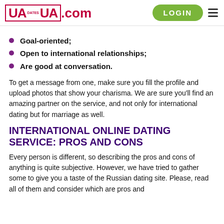UA Dates UA.com | LOGIN
Goal-oriented;
Open to international relationships;
Are good at conversation.
To get a message from one, make sure you fill the profile and upload photos that show your charisma. We are sure you’ll find an amazing partner on the service, and not only for international dating but for marriage as well.
INTERNATIONAL ONLINE DATING SERVICE: PROS AND CONS
Every person is different, so describing the pros and cons of anything is quite subjective. However, we have tried to gather some to give you a taste of the Russian dating site. Please, read all of them and consider which are pros and